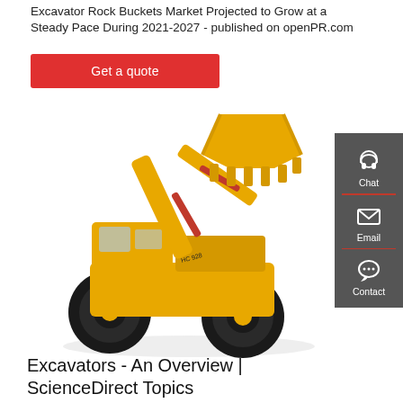Excavator Rock Buckets Market Projected to Grow at a Steady Pace During 2021-2027 - published on openPR.com
Get a quote
[Figure (photo): Yellow excavator/wheel loader with rock bucket attachment on white background]
Excavators - An Overview | ScienceDirect Topics